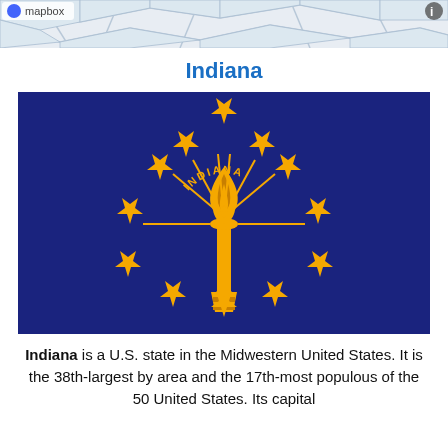[Figure (map): Mapbox map strip showing road/region network at the top of the page]
Indiana
[Figure (illustration): Indiana state flag — dark blue background with gold torch and thirteen stars arranged in an outer ring of five, inner arc of seven, and one above the torch, plus 'INDIANA' text arc and radiating lines]
Indiana is a U.S. state in the Midwestern United States. It is the 38th-largest by area and the 17th-most populous of the 50 United States. Its capital